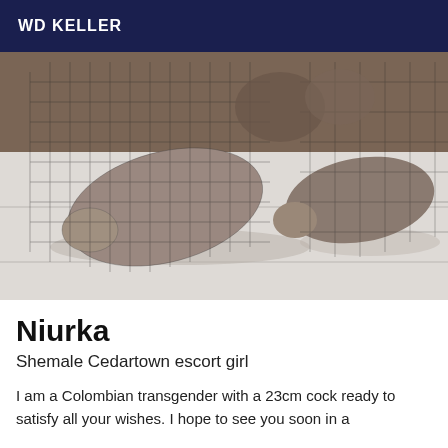WD KELLER
[Figure (photo): Close-up photo of feet wearing fishnet stockings on a light wood floor]
Niurka
Shemale Cedartown escort girl
I am a Colombian transgender with a 23cm cock ready to satisfy all your wishes. I hope to see you soon in a